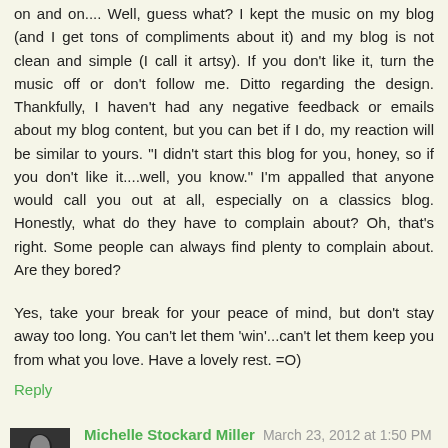on and on.... Well, guess what? I kept the music on my blog (and I get tons of compliments about it) and my blog is not clean and simple (I call it artsy). If you don't like it, turn the music off or don't follow me. Ditto regarding the design. Thankfully, I haven't had any negative feedback or emails about my blog content, but you can bet if I do, my reaction will be similar to yours. "I didn't start this blog for you, honey, so if you don't like it....well, you know." I'm appalled that anyone would call you out at all, especially on a classics blog. Honestly, what do they have to complain about? Oh, that's right. Some people can always find plenty to complain about. Are they bored?
Yes, take your break for your peace of mind, but don't stay away too long. You can't let them 'win'...can't let them keep you from what you love. Have a lovely rest. =O)
Reply
Michelle Stockard Miller  March 23, 2012 at 1:50 PM
I just realized that the complaints were about your teaching posts. Give me a break. Who better to talk about books...